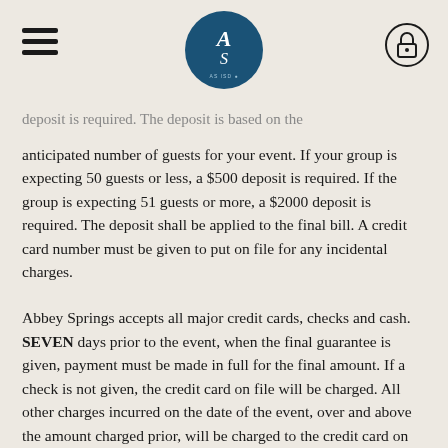Abbey Springs — navigation header with logo and lock icon
deposit is required. The deposit is based on the anticipated number of guests for your event. If your group is expecting 50 guests or less, a $500 deposit is required. If the group is expecting 51 guests or more, a $2000 deposit is required. The deposit shall be applied to the final bill. A credit card number must be given to put on file for any incidental charges.
Abbey Springs accepts all major credit cards, checks and cash. SEVEN days prior to the event, when the final guarantee is given, payment must be made in full for the final amount. If a check is not given, the credit card on file will be charged. All other charges incurred on the date of the event, over and above the amount charged prior, will be charged to the credit card on file or the balance of the account is due and payable the next business day after the date of the event.